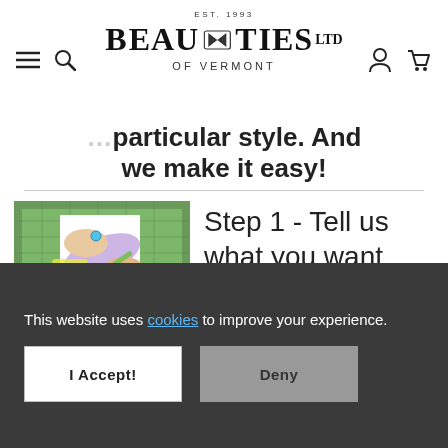Beau Ties Ltd of Vermont — EST. 1993 — Navigation header with hamburger menu, search, account, and cart icons
...particular style. And we make it easy!
[Figure (photo): Two photos stacked: hands tracing a pattern on fabric on a green cutting mat]
Step 1 - Tell us what you want. The easiest way...Trace a
This website uses cookies to improve your experience.
I Accept!
Deny